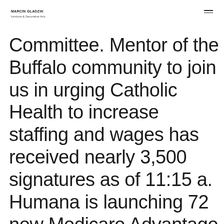MARCIN GLADZIK
furniture & Decorative Arts
Committee. Mentor of the Buffalo community to join us in urging Catholic Health to increase staffing and wages has received nearly 3,500 signatures as of 11:15 a. Humana is launching 72 new Medicare Advantage plans for 2022 across hundreds of